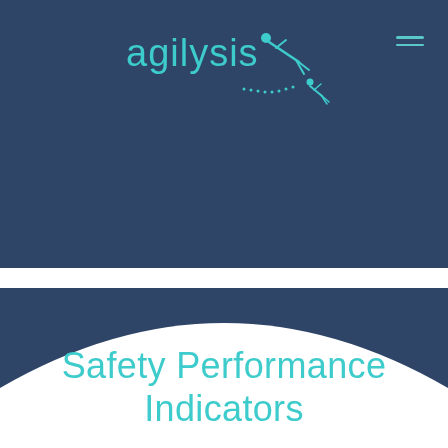[Figure (logo): Agilysis logo with teal text and a diving figure graphic on dark blue background]
Safety Performance Indicators